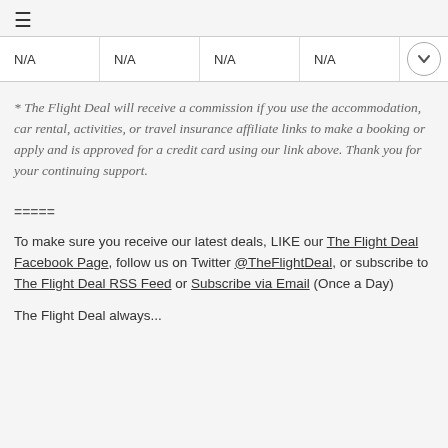≡
| N/A | N/A | N/A | N/A | ▾ |
* The Flight Deal will receive a commission if you use the accommodation, car rental, activities, or travel insurance affiliate links to make a booking or apply and is approved for a credit card using our link above. Thank you for your continuing support.
=====
To make sure you receive our latest deals, LIKE our The Flight Deal Facebook Page, follow us on Twitter @TheFlightDeal, or subscribe to The Flight Deal RSS Feed or Subscribe via Email (Once a Day)
The Flight Deal always...